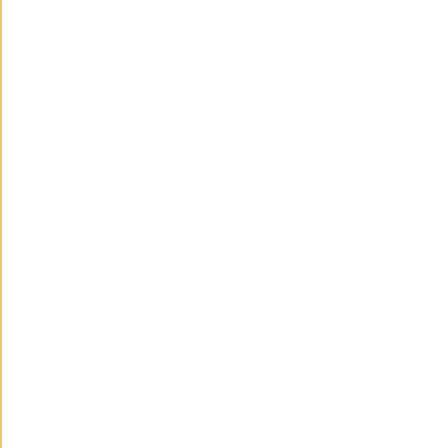Ednometriosis and Essential Oils-- Calcarea Phosphorica
Ednometriosis and Essential Oils-- Calcarea Sulphu Calcium Sulphate CaSO4 12H20
Ednometriosis and Flower Redemies-- Plumbago
Ednometriosis and Flower Remdies-- Gladiolus
Ednometriosis and Flower Remedies-- Calendula
Ednometriosis and Flower Remedies-- Carnation
Ednometriosis and Flower Remedies-- Cornflower